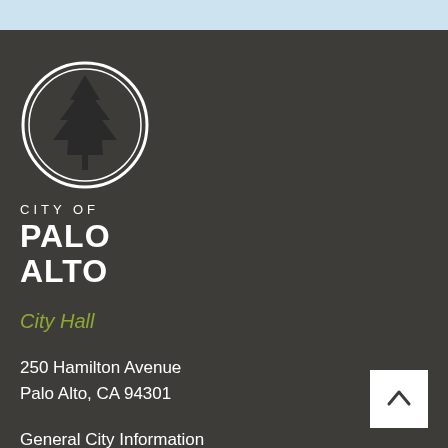[Figure (logo): City of Palo Alto logo: circular emblem with a tall conifer tree, text CITY OF PALO ALTO below]
City Hall
250 Hamilton Avenue
Palo Alto, CA 94301
General City Information